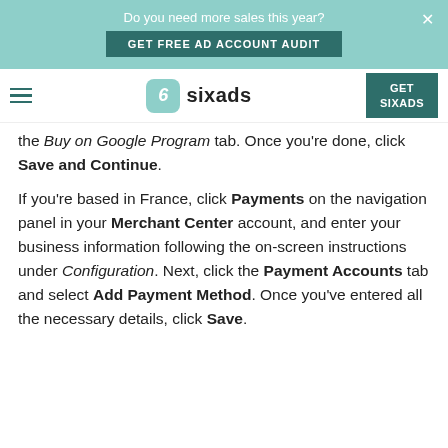[Figure (infographic): Ad banner with teal background saying 'Do you need more sales this year?' with a 'GET FREE AD ACCOUNT AUDIT' button and X close button]
[Figure (logo): Sixads logo with teal rounded square icon and hamburger menu on left, GET SIXADS button on right]
the Buy on Google Program tab. Once you're done, click Save and Continue.
If you're based in France, click Payments on the navigation panel in your Merchant Center account, and enter your business information following the on-screen instructions under Configuration. Next, click the Payment Accounts tab and select Add Payment Method. Once you've entered all the necessary details, click Save.